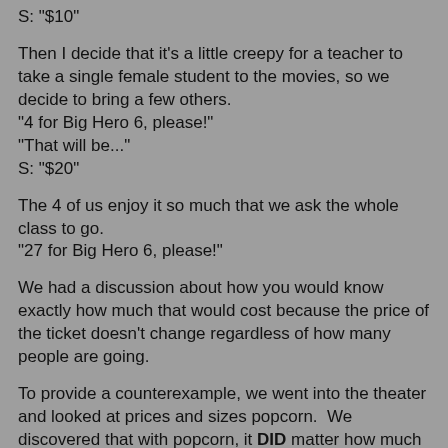S: "$10"
Then I decide that it's a little creepy for a teacher to take a single female student to the movies, so we decide to bring a few others.
"4 for Big Hero 6, please!"
"That will be..."
S: "$20"
The 4 of us enjoy it so much that we ask the whole class to go.
"27 for Big Hero 6, please!"
We had a discussion about how you would know exactly how much that would cost because the price of the ticket doesn't change regardless of how many people are going.
To provide a counterexample, we went into the theater and looked at prices and sizes popcorn.  We discovered that with popcorn, it DID matter how much you bought as the price decreases per ounce as you buy more.